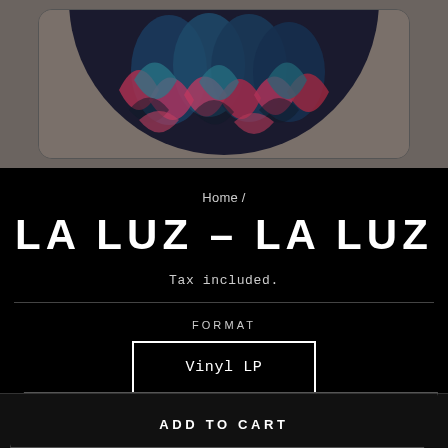[Figure (illustration): Partial vinyl album artwork showing a circular record/disc with abstract feather or scale patterns in dark blue, teal, and red/pink tones on a grey background, cropped at top]
Home /
LA LUZ – LA LUZ
Tax included.
FORMAT
Vinyl LP
ADD TO CART